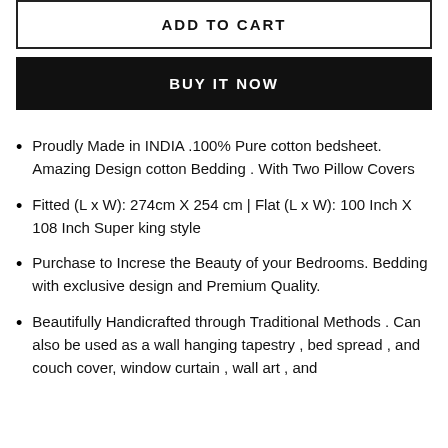ADD TO CART
BUY IT NOW
Proudly Made in INDIA .100% Pure cotton bedsheet. Amazing Design cotton Bedding . With Two Pillow Covers
Fitted (L x W): 274cm X 254 cm | Flat (L x W): 100 Inch X 108 Inch Super king style
Purchase to Increse the Beauty of your Bedrooms. Bedding with exclusive design and Premium Quality.
Beautifully Handicrafted through Traditional Methods . Can also be used as a wall hanging tapestry , bed spread , and couch cover, window curtain , wall art , and